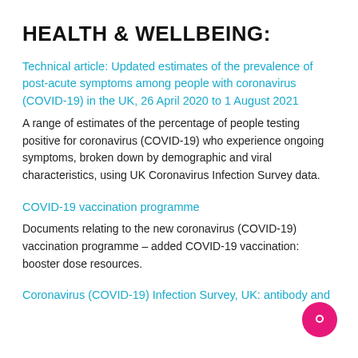HEALTH & WELLBEING:
Technical article: Updated estimates of the prevalence of post-acute symptoms among people with coronavirus (COVID-19) in the UK, 26 April 2020 to 1 August 2021
A range of estimates of the percentage of people testing positive for coronavirus (COVID-19) who experience ongoing symptoms, broken down by demographic and viral characteristics, using UK Coronavirus Infection Survey data.
COVID-19 vaccination programme
Documents relating to the new coronavirus (COVID-19) vaccination programme – added COVID-19 vaccination: booster dose resources.
Coronavirus (COVID-19) Infection Survey, UK: antibody and